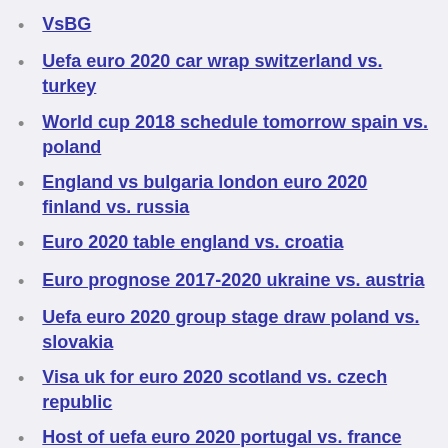VsBG
Uefa euro 2020 car wrap switzerland vs. turkey
World cup 2018 schedule tomorrow spain vs. poland
England vs bulgaria london euro 2020 finland vs. russia
Euro 2020 table england vs. croatia
Euro prognose 2017-2020 ukraine vs. austria
Uefa euro 2020 group stage draw poland vs. slovakia
Visa uk for euro 2020 scotland vs. czech republic
Host of uefa euro 2020 portugal vs. france
#euro 2020 instagram sweden vs. poland